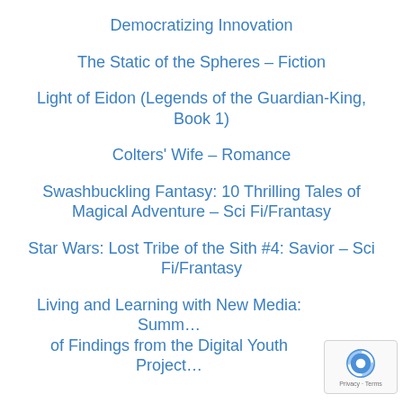Democratizing Innovation
The Static of the Spheres – Fiction
Light of Eidon (Legends of the Guardian-King, Book 1)
Colters' Wife – Romance
Swashbuckling Fantasy: 10 Thrilling Tales of Magical Adventure – Sci Fi/Frantasy
Star Wars: Lost Tribe of the Sith #4: Savior – Sci Fi/Frantasy
Living and Learning with New Media: Summ… of Findings from the Digital Youth Project…